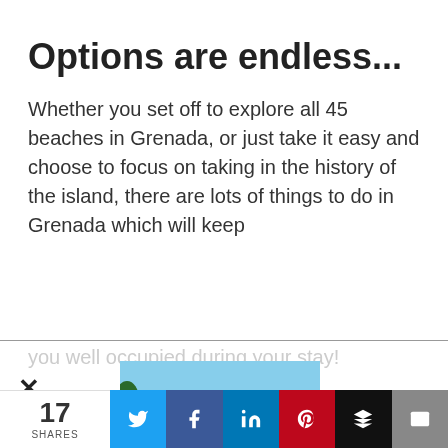Options are endless...
Whether you set off to explore all 45 beaches in Grenada, or just take it easy and choose to focus on taking in the history of the island, there are lots of things to do in Grenada which will keep you well occupied during your stay!
[Figure (photo): Beach photo with turquoise water and palm trees - Sandals Grenada advertisement]
Sandals Grenada
17 SHARES | Twitter | Facebook | LinkedIn | Pinterest | Buffer | Email